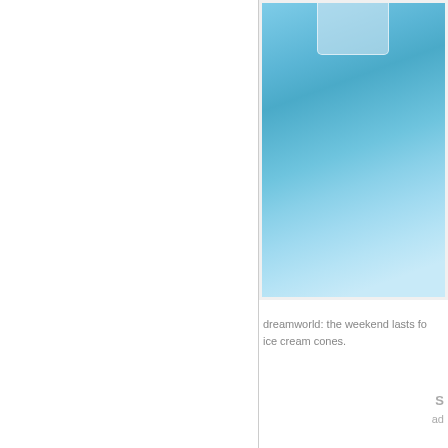[Figure (photo): Photo of an ice cream or glass on a light blue fuzzy/fluffy surface, cropped partially at the top right of the page layout]
dreamworld: the weekend lasts fo... ice cream cones.
S
ad